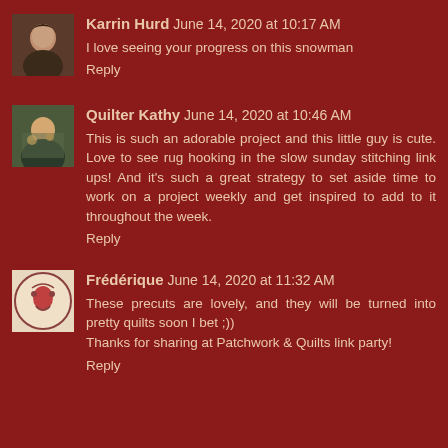[Figure (photo): Avatar photo of Karrin Hurd, a woman with dark hair]
Karrin Hurd June 14, 2020 at 10:17 AM
I love seeing your progress on this snowman
Reply
[Figure (photo): Avatar photo of Quilter Kathy, a person at a quilting table]
Quilter Kathy June 14, 2020 at 10:46 AM
This is such an adorable project and this little guy is cute. Love to see rug hooking in the slow sunday stitching link ups! And it's such a great strategy to set aside time to work on a project weekly and get inspired to add to it throughout the week.
Reply
[Figure (logo): Avatar logo/icon for Frédérique, decorative circular emblem]
Frédérique June 14, 2020 at 11:32 AM
These precuts are lovely, and they will be turned into pretty quilts soon I bet ;))
Thanks for sharing at Patchwork & Quilts link party!
Reply